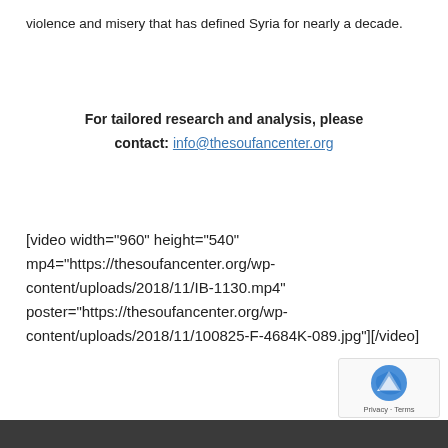violence and misery that has defined Syria for nearly a decade.
For tailored research and analysis, please contact:  info@thesoufancenter.org
[video width="960" height="540" mp4="https://thesoufancenter.org/wp-content/uploads/2018/11/IB-1130.mp4" poster="https://thesoufancenter.org/wp-content/uploads/2018/11/100825-F-4684K-089.jpg"][/video]
Privacy · Terms